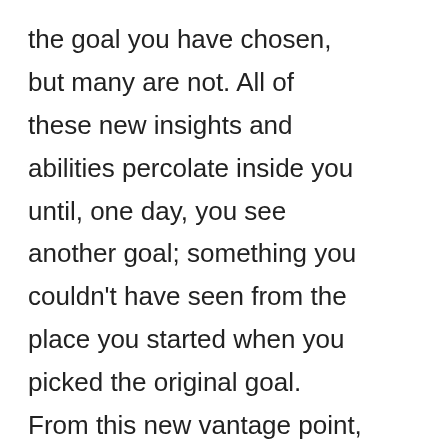the goal you have chosen, but many are not. All of these new insights and abilities percolate inside you until, one day, you see another goal; something you couldn't have seen from the place you started when you picked the original goal. From this new vantage point, another goal becomes clear. Now that you see the new goal, it looks shinier and brighter than the original goal. And you change goals.

To diagram this, you can picture yourself at Point A, looking at your goal, which is at Point B. As you take steps towards Point B, you eventually arrive